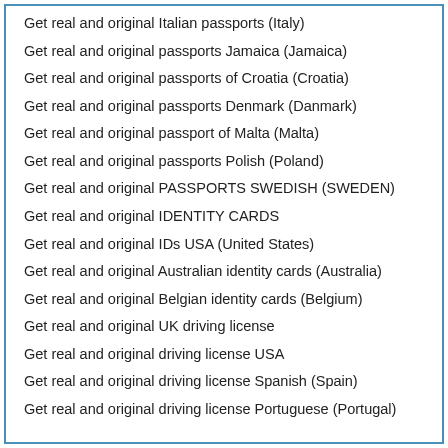Get real and original Italian passports (Italy)
Get real and original passports Jamaica (Jamaica)
Get real and original passports of Croatia (Croatia)
Get real and original passports Denmark (Danmark)
Get real and original passport of Malta (Malta)
Get real and original passports Polish (Poland)
Get real and original PASSPORTS SWEDISH (SWEDEN)
Get real and original IDENTITY CARDS
Get real and original IDs USA (United States)
Get real and original Australian identity cards (Australia)
Get real and original Belgian identity cards (Belgium)
Get real and original UK driving license
Get real and original driving license USA
Get real and original driving license Spanish (Spain)
Get real and original driving license Portuguese (Portugal)